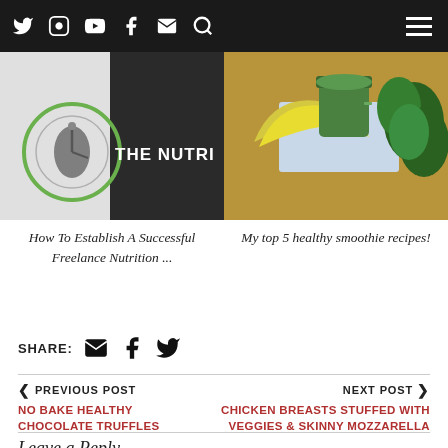Navigation bar with social icons: Twitter, Instagram, YouTube, Facebook, Email, Search, and hamburger menu
[Figure (screenshot): Left image: The Nutri... logo with circular design on light background]
[Figure (photo): Right image: Bananas, green smoothie in cup, and fresh kale/parsley on wooden surface]
How To Establish A Successful Freelance Nutrition ...
My top 5 healthy smoothie recipes!
SHARE: [email icon] [facebook icon] [twitter icon]
< PREVIOUS POST
NO BAKE HEALTHY CHOCOLATE TRUFFLES
> NEXT POST
CHICKEN BREASTS STUFFED WITH VEGGIES & SKINNY MOZZARELLA
Leave a Reply